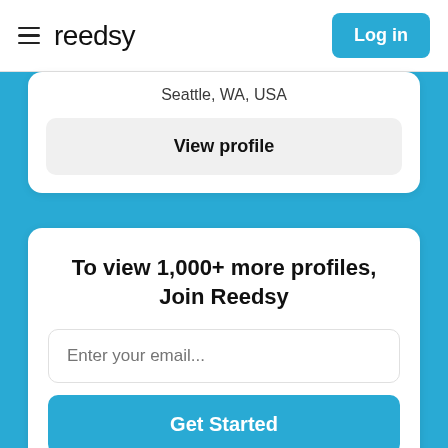reedsy | Log in
Seattle, WA, USA
View profile
To view 1,000+ more profiles, Join Reedsy
Enter your email...
Get Started